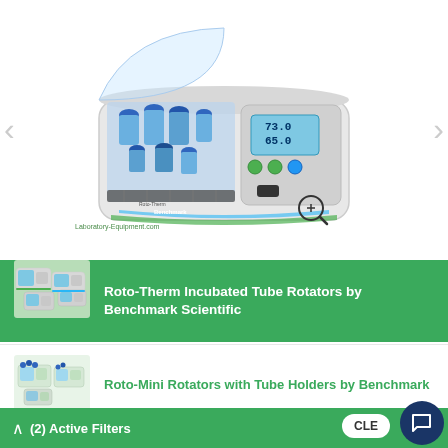[Figure (photo): Roto-Therm Incubated Tube Rotator laboratory device by Benchmark Scientific — white/grey enclosure with clear acrylic lid open showing blue-capped tubes in rotating rack, digital display panel on right side showing temperature reading, brand logo visible on front. Navigation arrows visible on left and right sides. Magnify/zoom icon in lower right. Laboratory-Equipment.com watermark at bottom left.]
[Figure (photo): Small thumbnail image of Roto-Therm Incubated Tube Rotator on green background card - same device as main image, multiple units shown]
Roto-Therm Incubated Tube Rotators by Benchmark Scientific
[Figure (photo): Small thumbnail image of Roto-Mini Rotators with Tube Holders by Benchmark Scientific on white background card]
Roto-Mini Rotators with Tube Holders by Benchmark Scientific
(2) Active Filters
CLEAR